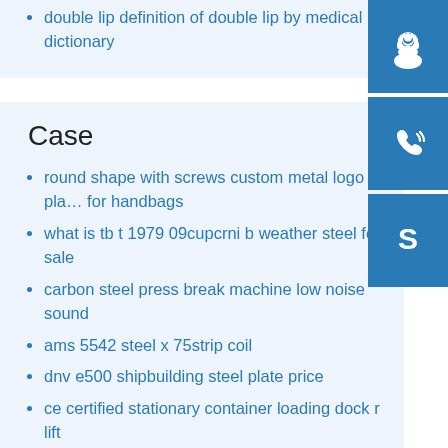double lip definition of double lip by medical dictionary
Case
round shape with screws custom metal logo pla... for handbags
what is tb t 1979 09cupcrni b weather steel for sale
carbon steel press break machine low noise sound
ams 5542 steel x 75strip coil
dnv e500 shipbuilding steel plate price
ce certified stationary container loading dock r lift
[Figure (illustration): Three blue sidebar buttons with white icons: headset/support icon, phone with signal waves icon, and Skype 'S' logo icon]